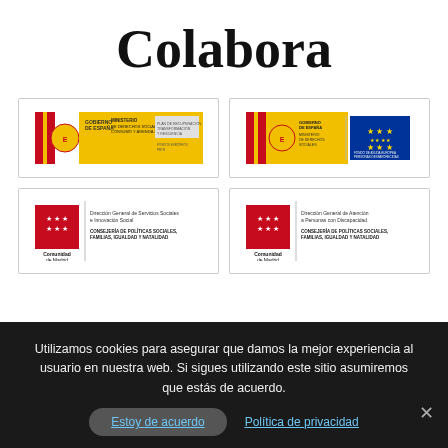Colabora
[Figure (logo): Gobierno de España - Ministerio de Derechos Sociales, Consumo y Agenda 2030 logo with Spanish flag colors]
[Figure (logo): Gobierno de España logo with EU flag and Fondo de Ayuda Europea para las Personas más Desfavorecidas]
[Figure (logo): Comunidad de Madrid - Dirección General de Servicios Sociales e Innovación Social, Consejería de Políticas Sociales, Familias, Igualdad y Natalidad]
[Figure (logo): Comunidad de Madrid - Dirección General de Atención a Personas con Discapacidad, Consejería de Políticas Sociales, Familias, Igualdad y Natalidad]
Utilizamos cookies para asegurar que damos la mejor experiencia al usuario en nuestra web. Si sigues utilizando este sitio asumiremos que estás de acuerdo.
Estoy de acuerdo
Política de privacidad